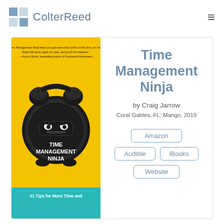[Figure (logo): ColterReed logo with grid icon and text]
[Figure (photo): Book cover of Time Management Ninja by Craig Jarrow, yellow background with alarm clock wearing ninja mask]
Time Management Ninja
by Craig Jarrow
Coral Gables, FL: Mango, 2019
Amazon
Audible
iBooks
Website